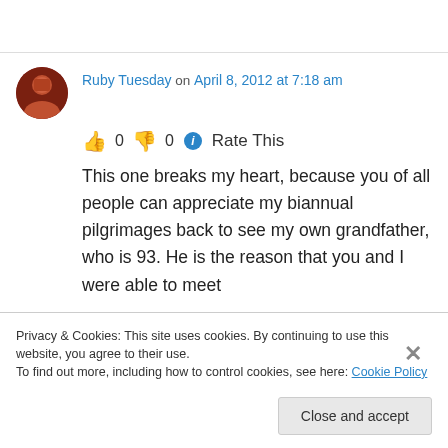Ruby Tuesday on April 8, 2012 at 7:18 am
👍 0 👎 0 ℹ Rate This
This one breaks my heart, because you of all people can appreciate my biannual pilgrimages back to see my own grandfather, who is 93. He is the reason that you and I were able to meet
Privacy & Cookies: This site uses cookies. By continuing to use this website, you agree to their use.
To find out more, including how to control cookies, see here: Cookie Policy
Close and accept